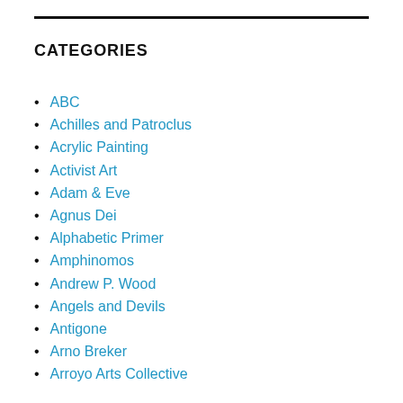CATEGORIES
ABC
Achilles and Patroclus
Acrylic Painting
Activist Art
Adam & Eve
Agnus Dei
Alphabetic Primer
Amphinomos
Andrew P. Wood
Angels and Devils
Antigone
Arno Breker
Arroyo Arts Collective